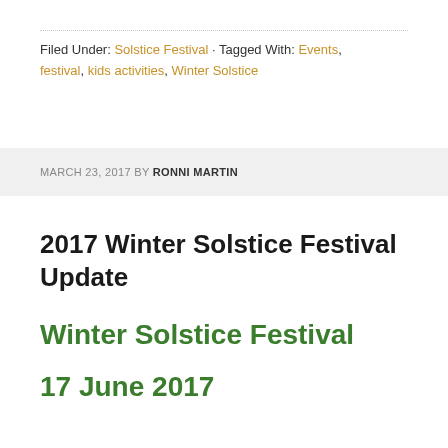Filed Under: Solstice Festival · Tagged With: Events, festival, kids activities, Winter Solstice
MARCH 23, 2017 BY RONNI MARTIN
2017 Winter Solstice Festival Update
Winter Solstice Festival
17 June 2017